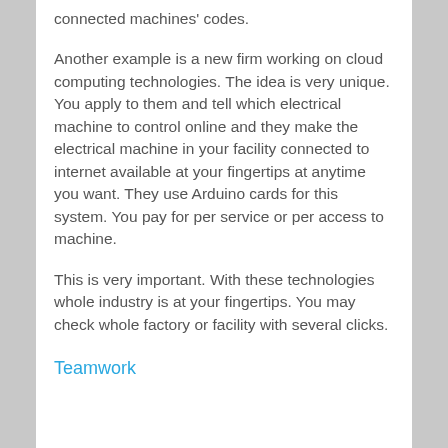connected machines' codes.
Another example is a new firm working on cloud computing technologies. The idea is very unique. You apply to them and tell which electrical machine to control online and they make the electrical machine in your facility connected to internet available at your fingertips at anytime you want. They use Arduino cards for this system. You pay for per service or per access to machine.
This is very important. With these technologies whole industry is at your fingertips. You may check whole factory or facility with several clicks.
Teamwork